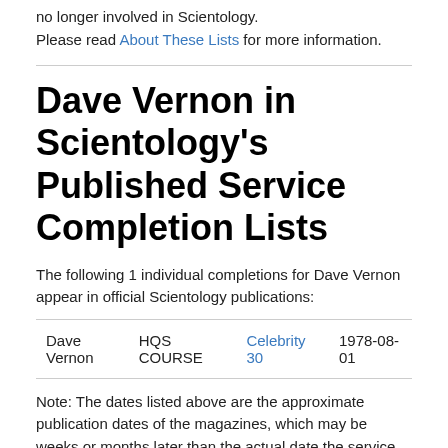no longer involved in Scientology.
Please read About These Lists for more information.
Dave Vernon in Scientology's Published Service Completion Lists
The following 1 individual completions for Dave Vernon appear in official Scientology publications:
| Dave Vernon | HQS COURSE | Celebrity 30 | 1978-08-01 |
Note: The dates listed above are the approximate publication dates of the magazines, which may be weeks or months later than the actual date the service was completed.
Dave Vernon in Scientology's Publications